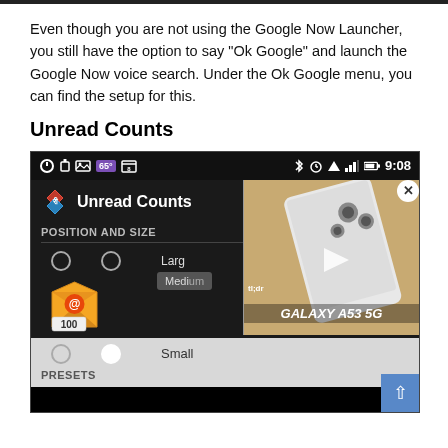Even though you are not using the Google Now Launcher, you still have the option to say “Ok Google” and launch the Google Now voice search. Under the Ok Google menu, you can find the setup for this.
Unread Counts
[Figure (screenshot): Android app screenshot showing 'Unread Counts' settings screen with position and size options (Large, Medium, Small), an email icon with count 100, radio buttons, and overlaid Samsung Galaxy A53 5G advertisement.]